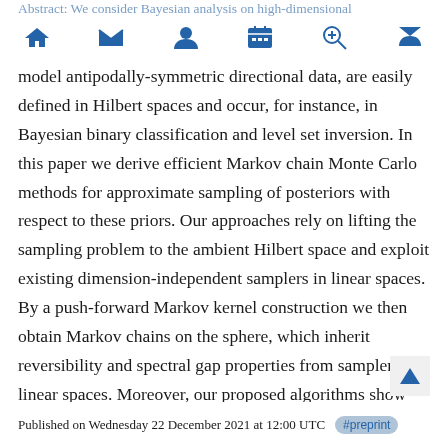Abstract: We consider Bayesian analysis on high-dimensional spheres with angular central Gaussian priors. These priors
model antipodally-symmetric directional data, are easily defined in Hilbert spaces and occur, for instance, in Bayesian binary classification and level set inversion. In this paper we derive efficient Markov chain Monte Carlo methods for approximate sampling of posteriors with respect to these priors. Our approaches rely on lifting the sampling problem to the ambient Hilbert space and exploit existing dimension-independent samplers in linear spaces. By a push-forward Markov kernel construction we then obtain Markov chains on the sphere, which inherit reversibility and spectral gap properties from samplers in linear spaces. Moreover, our proposed algorithms show dimension-independent efficiency in numerical experiments.
Published on Wednesday 22 December 2021 at 12:00 UTC #preprint